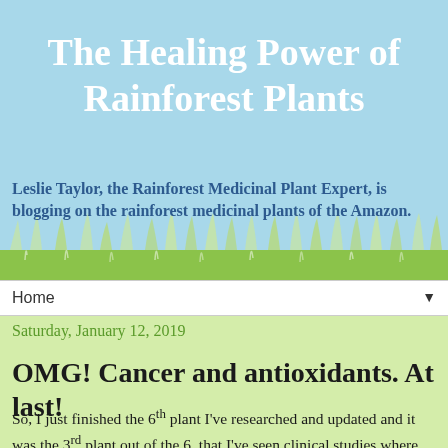The Healing Power of Rainforest Plants
Leslie Taylor, the Rainforest Medicinal Plant Expert, is blogging on the rainforest medicinal plants of the Amazon.
Home ▼
Saturday, January 12, 2019
OMG! Cancer and antioxidants. At last!
So, I just finished the 6th plant I've researched and updated and it was the 3rd plant out of the 6 that I've seen clinical studies where researchers or pharmaceutical companies are combining either the